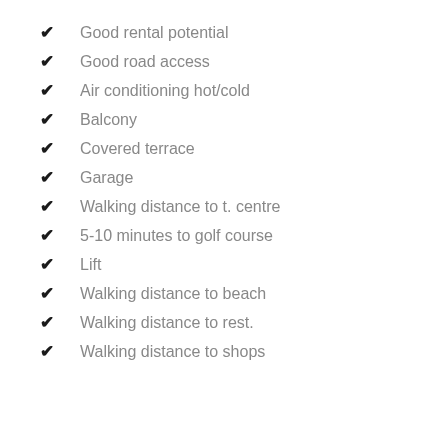Good rental potential
Good road access
Air conditioning hot/cold
Balcony
Covered terrace
Garage
Walking distance to t. centre
5-10 minutes to golf course
Lift
Walking distance to beach
Walking distance to rest.
Walking distance to shops